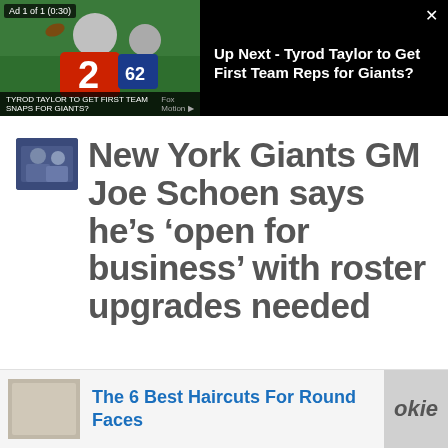[Figure (screenshot): Video player thumbnail showing NFL player wearing red jersey with number 2 throwing football, on green field background. Ad badge shows 'Ad 1 of 1 (0:30)']
Up Next - Tyrod Taylor to Get First Team Reps for Giants?
New York Giants GM Joe Schoen says he’s ‘open for business’ with roster upgrades needed
The 6 Best Haircuts For Round Faces